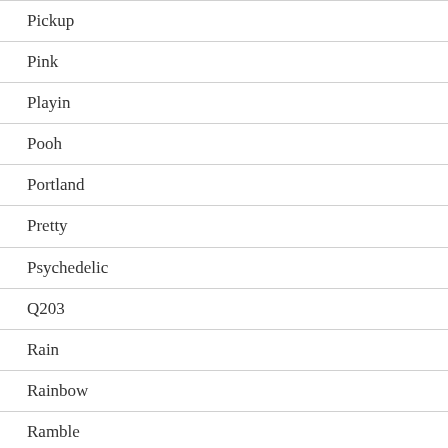Pickup
Pink
Playin
Pooh
Portland
Pretty
Psychedelic
Q203
Rain
Rainbow
Ramble
Rare
Rarevintage